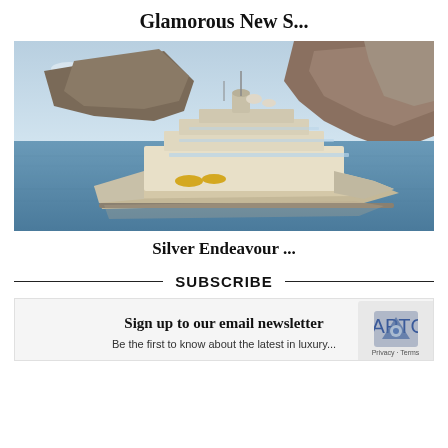Glamorous New S...
[Figure (photo): Luxury cruise ship sailing on calm blue sea with dramatic rocky cliffs and mountains in the background under a partly cloudy sky.]
Silver Endeavour ...
SUBSCRIBE
Sign up to our email newsletter
Be the first to know about the latest in luxury...